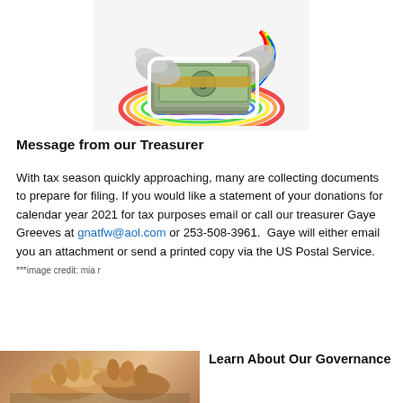[Figure (illustration): Cartoon illustration of a stack of US dollar bills wrapped with a golden band, with rainbow and wing decorations, on a light gray background]
Message from our Treasurer
With tax season quickly approaching, many are collecting documents to prepare for filing. If you would like a statement of your donations for calendar year 2021 for tax purposes email or call our treasurer Gaye Greeves at gnatfw@aol.com or 253-508-3961.  Gaye will either email you an attachment or send a printed copy via the US Postal Service.  ***image credit: mia r
[Figure (photo): Photo of people holding hands around a table, suggesting community or governance meeting]
Learn About Our Governance